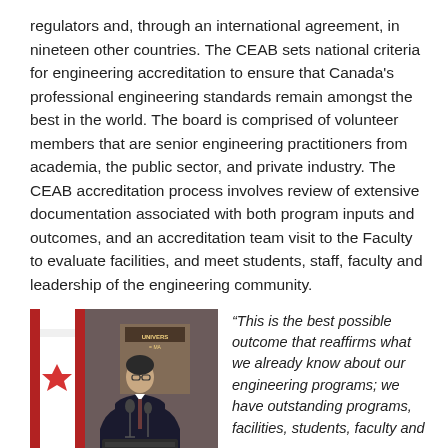regulators and, through an international agreement, in nineteen other countries. The CEAB sets national criteria for engineering accreditation to ensure that Canada's professional engineering standards remain amongst the best in the world. The board is comprised of volunteer members that are senior engineering practitioners from academia, the public sector, and private industry. The CEAB accreditation process involves review of extensive documentation associated with both program inputs and outcomes, and an accreditation team visit to the Faculty to evaluate facilities, and meet students, staff, faculty and leadership of the engineering community.
[Figure (photo): A person in a suit speaking at a podium with a Canadian flag in the background and a University of Manitoba banner visible.]
“This is the best possible outcome that reaffirms what we already know about our engineering programs; we have outstanding programs, facilities, students, faculty and